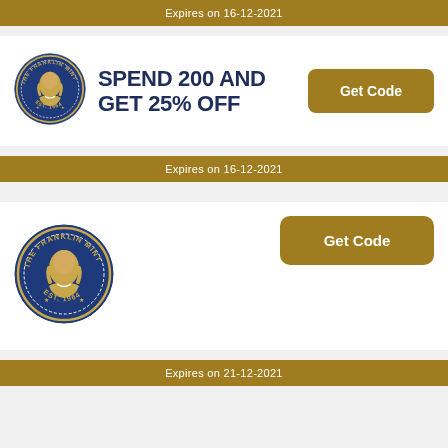Expires on 16-12-2021
[Figure (logo): The Franklin Mint circular logo with Benjamin Franklin portrait, EST. 1964]
SPEND 200 AND GET 25% OFF
Get Code
Expires on 16-12-2021
[Figure (logo): The Franklin Mint circular logo with Benjamin Franklin portrait, EST. 1964]
Get Code
Expires on 21-12-2021